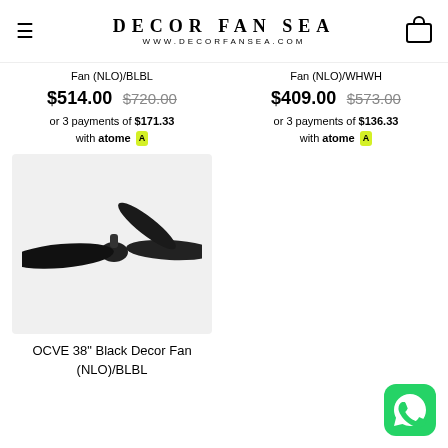DECOR FAN SEA
WWW.DECORFANSEA.COM
Fan (NLO)/BLBL
Fan (NLO)/WHWH
$514.00  $720.00
or 3 payments of $171.33 with atome
$409.00  $573.00
or 3 payments of $136.33 with atome
[Figure (photo): Black ceiling fan with dark blades viewed from below at an angle, on a light grey background]
OCVE 38" Black Decor Fan (NLO)/BLBL